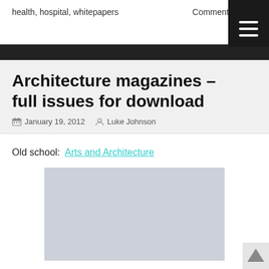health, hospital, whitepapers    Comments
Architecture magazines – full issues for download
January 19, 2012   Luke Johnson
Old school:  Arts and Architecture
[Figure (photo): A grey placeholder image rectangle]
Other:
Dwell magazine back issues